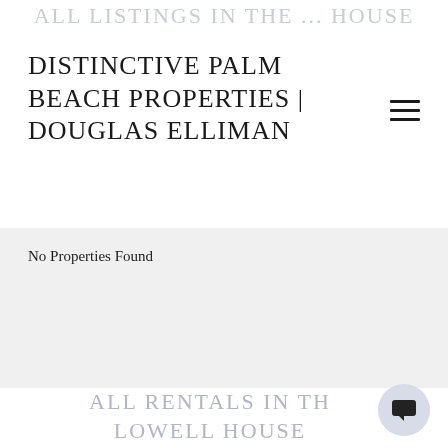ALL LISTINGS IN THE ... HOUSE
DISTINCTIVE PALM BEACH PROPERTIES | DOUGLAS ELLIMAN
No Properties Found
ALL RENTALS IN THE LOWELL HOUSE